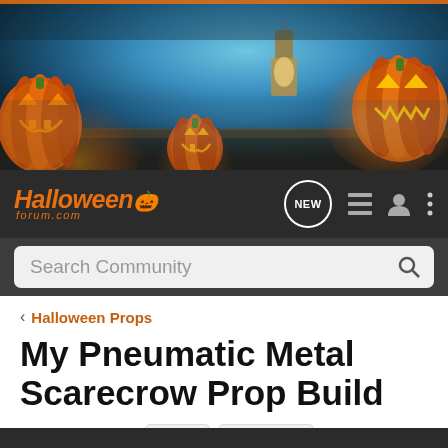[Figure (photo): Halloween banner image with glowing jack-o-lanterns pumpkins against a misty blue-teal night scene with a lantern in the background]
HalloweenForum.com navigation bar with logo, NEW button, list icon, user icon, and menu icon
Search Community
< Halloween Props
My Pneumatic Metal Scarecrow Prop Build
Pneumatic:  metal  scarecrow
→ Jump to Latest
+ Follow